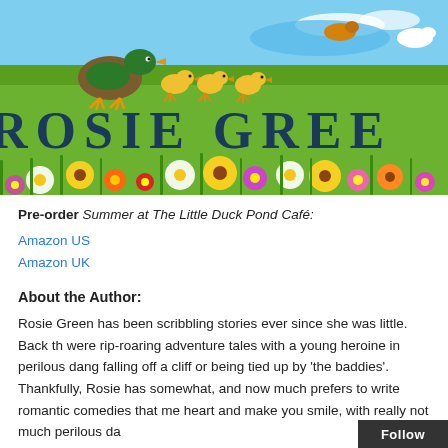[Figure (illustration): Book banner for Rosie Green showing a green meadow scene with a mother duck and ducklings, flowers, blue sky, and large text reading ROSIE GREE (partially cropped)]
Pre-order Summer at The Little Duck Pond Café:
Amazon US
Amazon UK
About the Author:
Rosie Green has been scribbling stories ever since she was little. Back th were rip-roaring adventure tales with a young heroine in perilous dang falling off a cliff or being tied up by 'the baddies'. Thankfully, Rosie has somewhat, and now much prefers to write romantic comedies that me heart and make you smile, with really not much perilous da